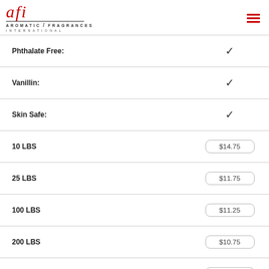[Figure (logo): AFI Aromatic Fragrances International logo with red italic script and hamburger menu icon]
| Property | Value |
| --- | --- |
| Phthalate Free: | ✓ |
| Vanillin: | ✓ |
| Skin Safe: | ✓ |
| 10 LBS | $14.75 |
| 25 LBS | $11.75 |
| 100 LBS | $11.25 |
| 200 LBS | $10.75 |
| 400 LBS | $10.25 |
| 1oz* | Sample |
| Name | F20061 |